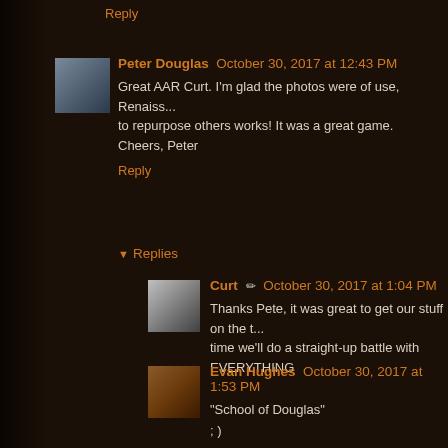Reply
Peter Douglas  October 30, 2017 at 12:43 PM
Great AAR Curt. I'm glad the photos were of use, Renaiss... to repurpose others works! It was a great game.
Cheers, Peter
Reply
▼ Replies
Curt ✏ October 30, 2017 at 1:04 PM
Thanks Pete, it was great to get our stuff on the t... time we'll do a straight-up battle with EVERYTHING
Evan Hughes  October 30, 2017 at 1:53 PM
"School of Douglas"
; )